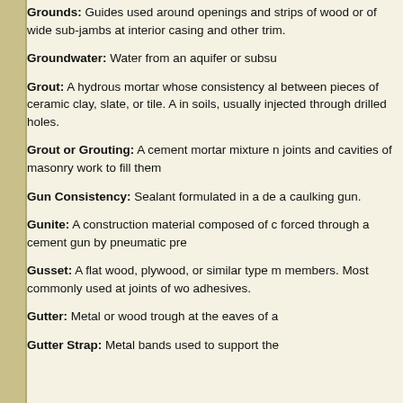Grounds: Guides used around openings and strips of wood or of wide sub-jambs at interior casing and other trim.
Groundwater: Water from an aquifer or subsu...
Grout: A hydrous mortar whose consistency allows it to be placed between pieces of ceramic clay, slate, or tile. Also a mixture forced into soils, usually injected through drilled holes.
Grout or Grouting: A cement mortar mixture run into the joints and cavities of masonry work to fill them.
Gun Consistency: Sealant formulated in a degree to be used with a caulking gun.
Gunite: A construction material composed of cement and sand forced through a cement gun by pneumatic pre...
Gusset: A flat wood, plywood, or similar type material used to provide a connection at the intersection of structural members. Most commonly used at joints of wood trusses. Fastened by nails, screws, bolts, or adhesives.
Gutter: Metal or wood trough at the eaves of a...
Gutter Strap: Metal bands used to support the...